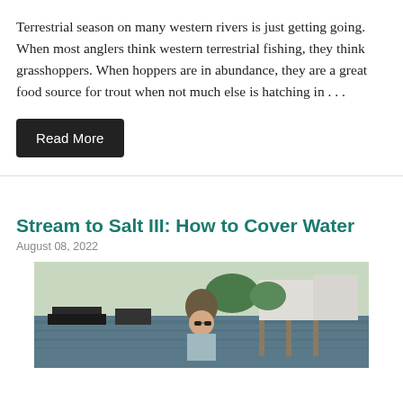Terrestrial season on many western rivers is just getting going. When most anglers think western terrestrial fishing, they think grasshoppers. When hoppers are in abundance, they are a great food source for trout when not much else is hatching in . . .
Read More
Stream to Salt III: How to Cover Water
August 08, 2022
[Figure (photo): A person wearing a hat and sunglasses standing near a marina or waterway with boats and buildings visible in the background.]